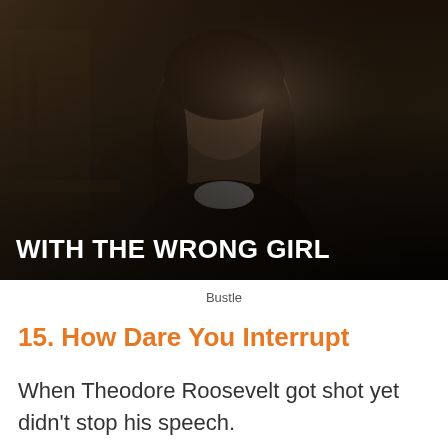[Figure (photo): Dark cinematic photo of a young girl with braided pigtails and a white collar dress, staring intensely at camera. Dark background with wooden furniture visible. Bold white text overlay at bottom reads 'WITH THE WRONG GIRL'.]
Bustle
15. How Dare You Interrupt
When Theodore Roosevelt got shot yet didn't stop his speech.